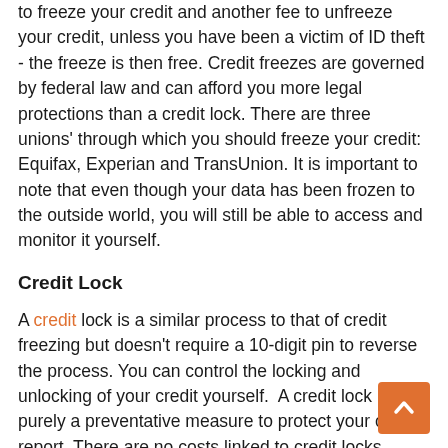to freeze your credit and another fee to unfreeze your credit, unless you have been a victim of ID theft - the freeze is then free. Credit freezes are governed by federal law and can afford you more legal protections than a credit lock. There are three unions' through which you should freeze your credit: Equifax, Experian and TransUnion. It is important to note that even though your data has been frozen to the outside world, you will still be able to access and monitor it yourself.
Credit Lock
A credit lock is a similar process to that of credit freezing but doesn't require a 10-digit pin to reverse the process. You can control the locking and unlocking of your credit yourself.  A credit lock is purely a preventative measure to protect your credit report. There are no costs linked to credit locks, except when working with Experian, which charges $9.99/month after the first free month has finished. Credit locks are not governed by federal law, so it